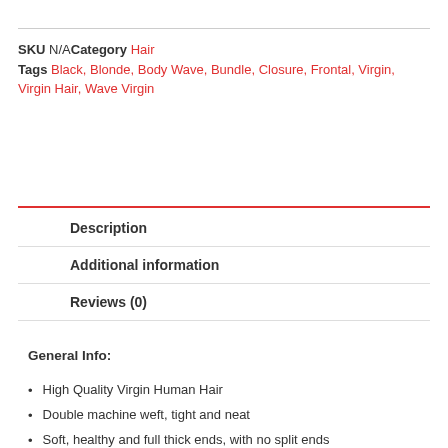SKU N/A  Category Hair
Tags Black, Blonde, Body Wave, Bundle, Closure, Frontal, Virgin, Virgin Hair, Wave Virgin
Description
Additional information
Reviews (0)
General Info:
High Quality Virgin Human Hair
Double machine weft, tight and neat
Soft, healthy and full thick ends, with no split ends